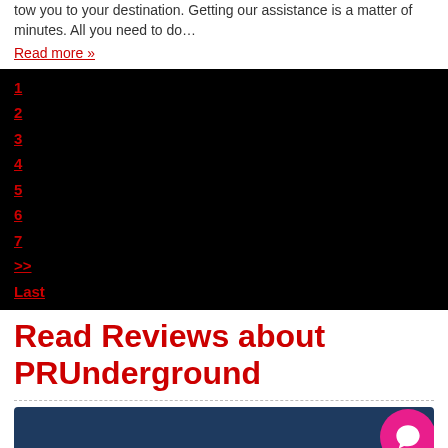tow you to your destination. Getting our assistance is a matter of minutes. All you need to do…
Read more »
[Figure (screenshot): Black pagination box with red numbered links: 1, 2, 3, 4, 5, 6, 7, >>, Last]
Read Reviews about PRUnderground
[Figure (illustration): Dark blue banner with 4.5 orange star rating and pink chat bubble icon, pencil graphics, partial text 'Reviews' at bottom left]